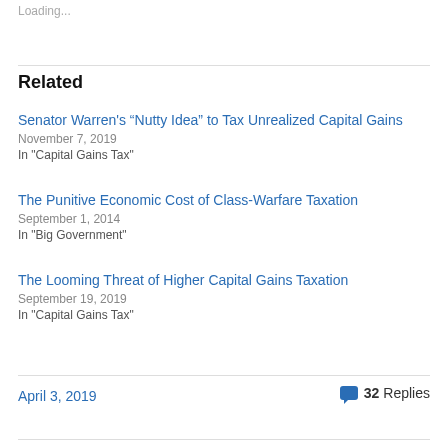Loading...
Related
Senator Warren's “Nutty Idea” to Tax Unrealized Capital Gains
November 7, 2019
In "Capital Gains Tax"
The Punitive Economic Cost of Class-Warfare Taxation
September 1, 2014
In "Big Government"
The Looming Threat of Higher Capital Gains Taxation
September 19, 2019
In "Capital Gains Tax"
April 3, 2019
32 Replies